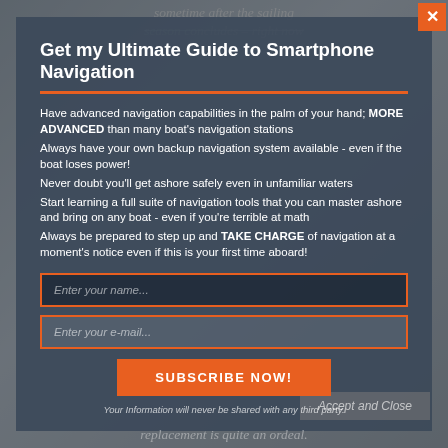sometime after the sailing season concludes – right now
Get my Ultimate Guide to Smartphone Navigation
Have advanced navigation capabilities in the palm of your hand; MORE ADVANCED than many boat's navigation stations
Always have your own backup navigation system available - even if the boat loses power!
Never doubt you'll get ashore safely even in unfamiliar waters
Start learning a full suite of navigation tools that you can master ashore and bring on any boat - even if you're terrible at math
Always be prepared to step up and TAKE CHARGE of navigation at a moment's notice even if this is your first time aboard!
Enter your name...
Enter your e-mail...
SUBSCRIBE NOW!
Your Information will never be shared with any third party.
Accept and Close
replacement is quite an ordeal.